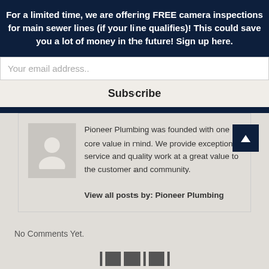For a limited time, we are offering FREE camera inspections for main sewer lines (if your line qualifies)! This could save you a lot of money in the future! Sign up here.
Your email address..
Subscribe
Pioneer Plumbing was founded with one core value in mind. We provide exceptional service and quality work at a great value to the customer and community.
View all posts by: Pioneer Plumbing
No Comments Yet.